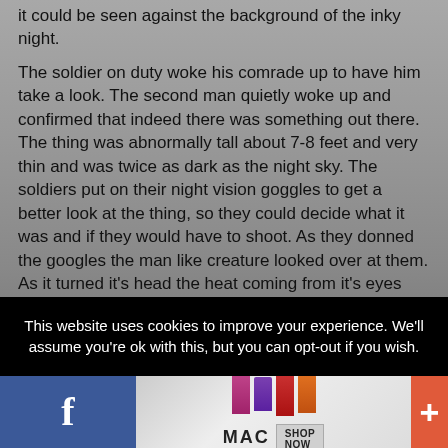it could be seen against the background of the inky night.
The soldier on duty woke his comrade up to have him take a look. The second man quietly woke up and confirmed that indeed there was something out there. The thing was abnormally tall about 7-8 feet and very thin and was twice as dark as the night sky. The soldiers put on their night vision goggles to get a better look at the thing, so they could decide what it was and if they would have to shoot. As they donned the googles the man like creature looked over at them. As it turned it's head the heat coming from it's eyes was so powerful it threatened to cancel out the heat vision on the goggles. They slowly turned the machine gun on the monster and its bright eyes affected the thermal image on the gun. It was not so bad, however, that the warrior was not able to get a bead
This website uses cookies to improve your experience. We'll assume you're ok with this, but you can opt-out if you wish.
[Figure (other): Bottom navigation bar with Facebook share button (blue), a MAC cosmetics advertisement with lipstick images and SHOP NOW button (gray center), and a plus/share button (orange-red).]